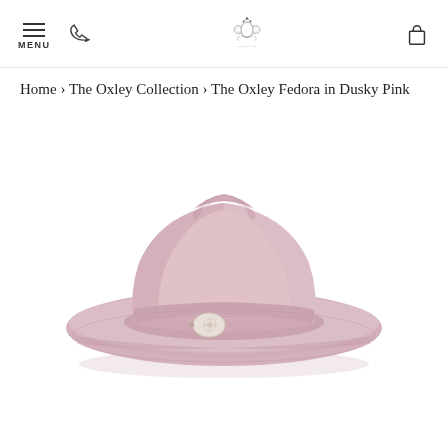MENU [navigation icons] [logo] [cart icon]
Home › The Oxley Collection › The Oxley Fedora in Dusky Pink
[Figure (photo): A wide-brimmed dusky pink fedora hat with a matching pink band and a small decorative circular emblem/badge on the front of the band. The hat is photographed against a white background.]